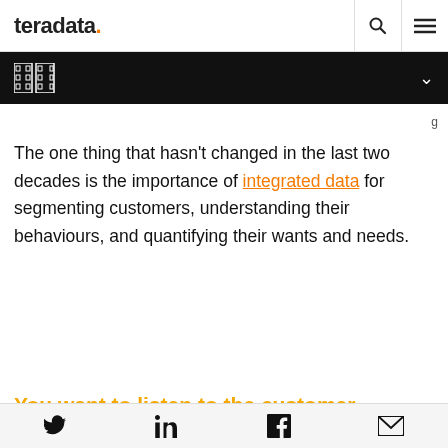teradata.
The one thing that hasn't changed in the last two decades is the importance of integrated data for segmenting customers, understanding their behaviours, and quantifying their wants and needs.
You want to listen to the customer
Twitter LinkedIn Facebook Email